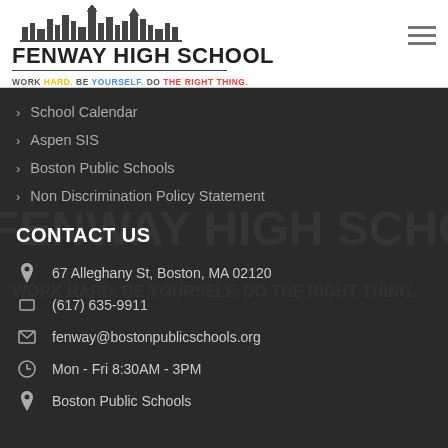[Figure (logo): Fenway High School logo with city skyline silhouette and school name]
School Calendar
Aspen SIS
Boston Public Schools
Non Discrimination Policy Statement
CONTACT US
67 Alleghany St, Boston, MA 02120
(617) 635-9911
fenway@bostonpublicschools.org
Mon - Fri 8:30AM - 3PM
Boston Public Schools